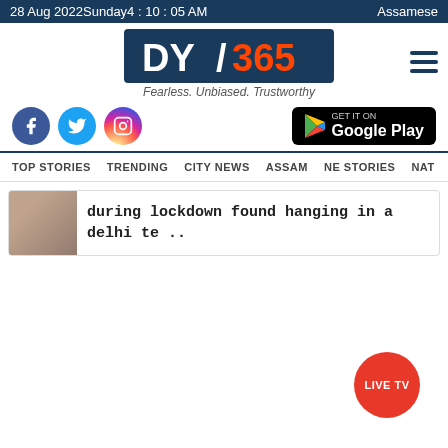28 Aug 2022Sunday4 : 10 : 05 AM   Assamese
[Figure (logo): DY365 logo with tagline Fearless. Unbiased. Trustworthy]
[Figure (infographic): Social media icons for Facebook, Twitter, Instagram and Google Play store button]
TOP STORIES   TRENDING   CITY NEWS   ASSAM   NE STORIES   NAT
during lockdown found hanging in a delhi te ..
[Figure (infographic): LIVE TV red circular button]